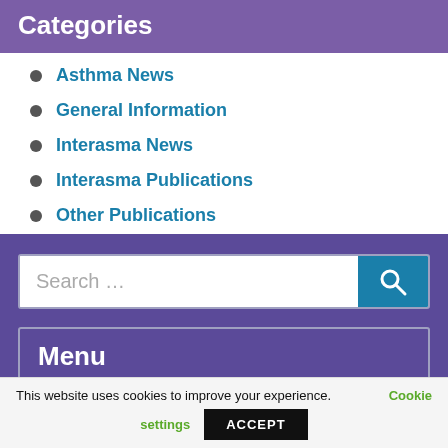Categories
Asthma News
General Information
Interasma News
Interasma Publications
Other Publications
Search ...
Menu
This website uses cookies to improve your experience. Cookie settings
ACCEPT